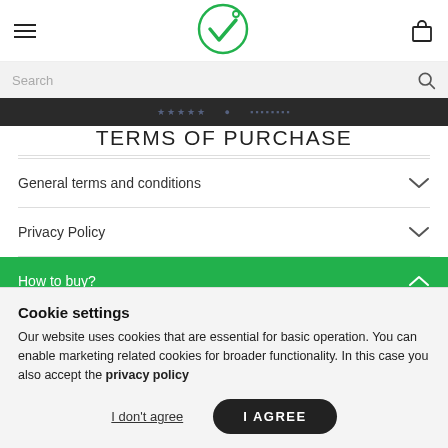[Figure (logo): Green circular V logo with degree symbol, Vivobarefoot brand]
Search
TERMS OF PURCHASE
General terms and conditions
Privacy Policy
How to buy?
Cookie settings
Our website uses cookies that are essential for basic operation. You can enable marketing related cookies for broader functionality. In this case you also accept the privacy policy
I don't agree
I AGREE